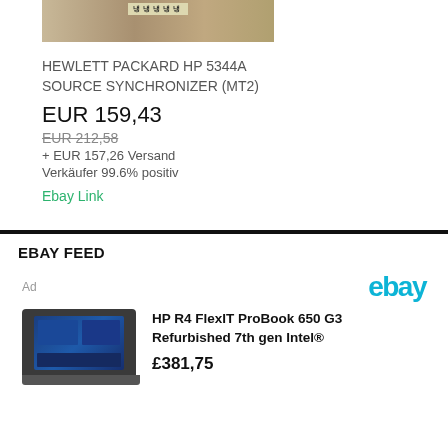[Figure (photo): Product image of electronic component, appears to be a circuit board or chip label with text]
HEWLETT PACKARD HP 5344A SOURCE SYNCHRONIZER (MT2)
EUR 159,43
EUR 212,58
+ EUR 157,26 Versand
Verkäufer 99.6% positiv
Ebay Link
EBAY FEED
Ad
[Figure (logo): eBay logo in teal/cyan color]
[Figure (photo): HP ProBook 650 G3 laptop computer photo]
HP R4 FlexIT ProBook 650 G3 Refurbished 7th gen Intel®
£381,75